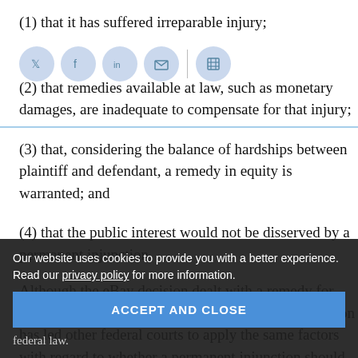(1) that it has suffered irreparable injury;
(2) that remedies available at law, such as monetary damages, are inadequate to compensate for that injury;
(3) that, considering the balance of hardships between plaintiff and defendant, a remedy in equity is warranted; and
(4) that the public interest would not be disserved by a permanent injunction.
Although the eBay decision dealt with a remedy for patent infringement, the broad language of the decision has led other federal courts to apply the same factors with regard to whether a permanent injunction should ... federal law.